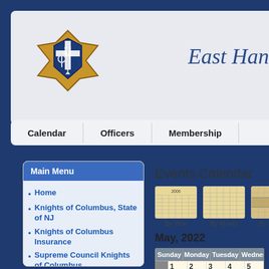[Figure (logo): Knights of Columbus KofC logo — gold and blue diamond/star shape with cross, sword, and anchor]
East Han
Calendar
Officers
Membership
Main Menu
Home
Knights of Columbus, State of NJ
Knights of Columbus Insurance
Supreme Council Knights of Columbus
History
KofC Financial Beacon
Events Calendar
[Figure (screenshot): Events calendar navigation icons: By Year, By Month, By Week, Today, Search]
May, 2022
| Sunday | Monday | Tuesday | Wednesday | Thursday |
| --- | --- | --- | --- | --- |
| 1 | 2 | 3 | 4 | 5 |
| 18 |  |  |  |  |